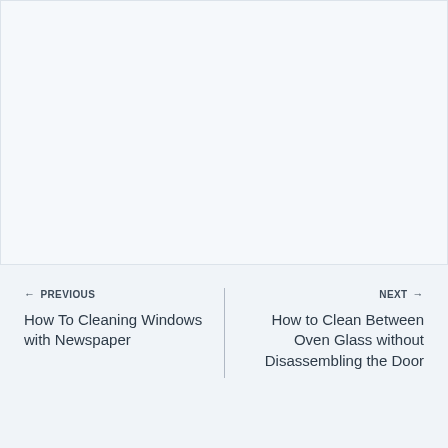[Figure (other): Blank white/light blue rectangle occupying the top portion of the page]
← PREVIOUS
How To Cleaning Windows with Newspaper
NEXT →
How to Clean Between Oven Glass without Disassembling the Door